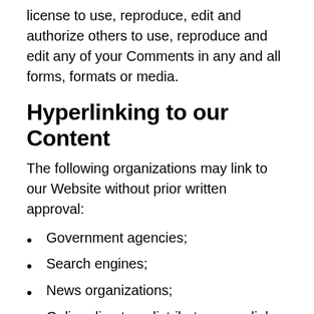license to use, reproduce, edit and authorize others to use, reproduce and edit any of your Comments in any and all forms, formats or media.
Hyperlinking to our Content
The following organizations may link to our Website without prior written approval:
Government agencies;
Search engines;
News organizations;
Online directory distributors may link to our Website in the same manner as they hyperlink to the Websites of other listed businesses; and
System wide Accredited Businesses except soliciting non-profit organizations, charity shopping malls, and charity fundraising groups